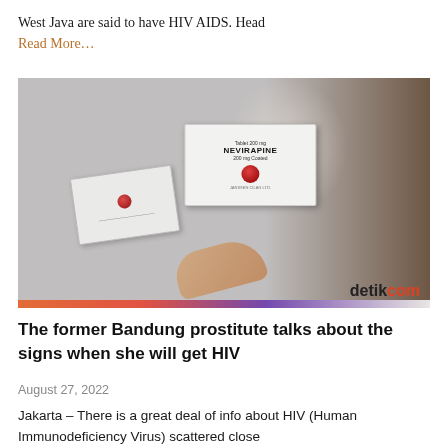West Java are said to have HIV AIDS. Head
Read More…
[Figure (photo): Person holding two medication boxes labeled NEVIRAPINE with red dot logos. Watermark reads 'detikcom' in bottom right corner. A colorful stripe band appears at the bottom of the image.]
The former Bandung prostitute talks about the signs when she will get HIV
August 27, 2022
Jakarta – There is a great deal of info about HIV (Human Immunodeficiency Virus) scattered close